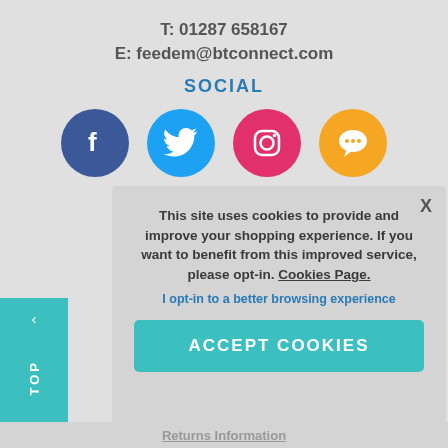T: 01287 658167
E: feedem@btconnect.com
SOCIAL
[Figure (illustration): Four social media icon circles: Facebook (blue), Twitter (light blue), Instagram (pink/magenta), Chat (orange)]
[Figure (screenshot): Cookie consent popup overlay with text: This site uses cookies to provide and improve your shopping experience. If you want to benefit from this improved service, please opt-in. Cookies Page. / I opt-in to a better browsing experience / ACCEPT COOKIES button]
Returns Information